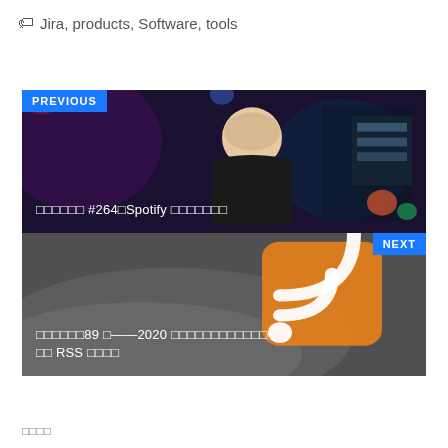🏷 Jira, products, Software, tools
[Figure (screenshot): Navigation block with PREVIOUS link showing Japanese text with '#264' and 'Spotify' and NEXT link showing Japanese text with '89', '2020', and 'RSS']
□□□□